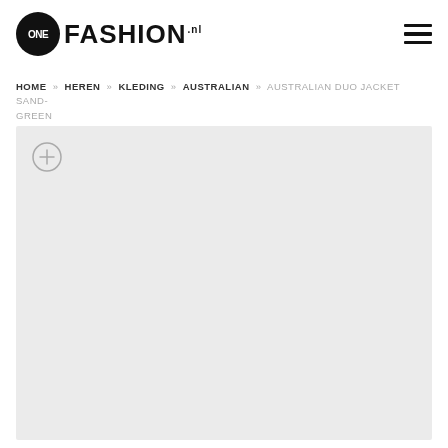ONE FASHION.nl
HOME » HEREN » KLEDING » AUSTRALIAN » AUSTRALIAN DUO JACKET SAND-GREEN
[Figure (photo): Product image area with light grey background and a zoom/expand button (circle with plus sign) in the top-left corner. The product image is not visible (loading or empty).]